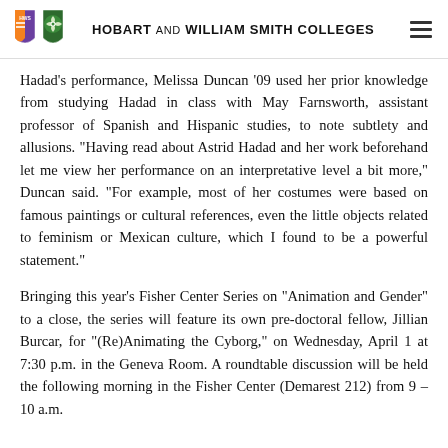HOBART AND WILLIAM SMITH COLLEGES
Hadad's performance, Melissa Duncan '09 used her prior knowledge from studying Hadad in class with May Farnsworth, assistant professor of Spanish and Hispanic studies, to note subtlety and allusions. “Having read about Astrid Hadad and her work beforehand let me view her performance on an interpretative level a bit more,” Duncan said. “For example, most of her costumes were based on famous paintings or cultural references, even the little objects related to feminism or Mexican culture, which I found to be a powerful statement.”
Bringing this year’s Fisher Center Series on “Animation and Gender” to a close, the series will feature its own pre-doctoral fellow, Jillian Burcar, for “(Re)Animating the Cyborg,” on Wednesday, April 1 at 7:30 p.m. in the Geneva Room. A roundtable discussion will be held the following morning in the Fisher Center (Demarest 212) from 9 – 10 a.m.